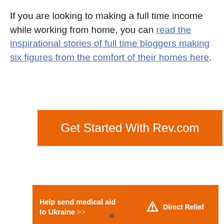If you are looking to making a full time income while working from home, you can read the inspirational stories of full time bloggers making six figures from the comfort of their homes here.
[Figure (other): Orange button with text 'Get Started With Rev.com']
[Figure (other): Orange advertisement banner: 'Help send medical aid to Ukraine >>' with Direct Relief logo on the right]